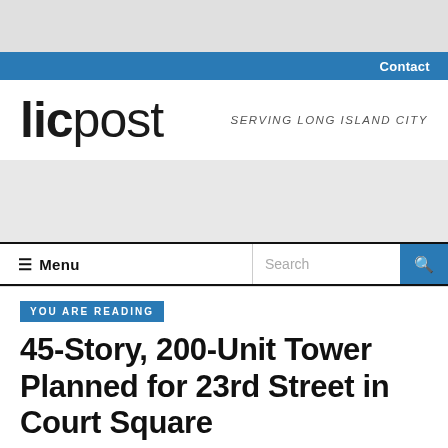Contact
[Figure (logo): LIC Post logo with text 'licpost' and tagline 'SERVING LONG ISLAND CITY']
≡ Menu
YOU ARE READING
45-Story, 200-Unit Tower Planned for 23rd Street in Court Square